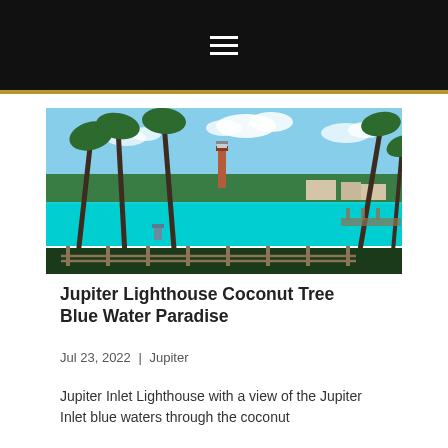≡
[Figure (photo): Coastal scene showing Jupiter Inlet Lighthouse (red brick tower) visible through tall leaning coconut palm trees, with bright turquoise blue water of Jupiter Inlet in the foreground, green vegetation and waterfront buildings on the far shore, under a partly cloudy blue sky.]
Jupiter Lighthouse Coconut Tree Blue Water Paradise
Jul 23, 2022 | Jupiter
Jupiter Inlet Lighthouse with a view of the Jupiter Inlet blue waters through the coconut